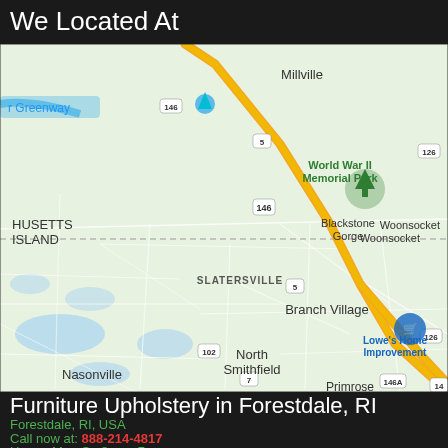We Located At
[Figure (map): Google Maps screenshot showing area around Forestdale/North Smithfield, Rhode Island. Shows roads including Route 146, Route 102, Route 5, Route 7, Route 126, Route 146A. Place names visible: Millville, Blackstone Gorge, World War II Memorial Park, HUSETTS ISLAND, Slatersville, Branch Village, Woonsocket, Lowe's Home Improvement, Nasonville, North Smithfield, Primrose. A diagonal highway (Route 146) runs through the map in yellow/gold color.]
Furniture Upholstery in Forestdale, RI
Forestdale, RI, USA
Call now at: 888-214-4817
Hours: Mon-Su 8am - 7pm
Menu